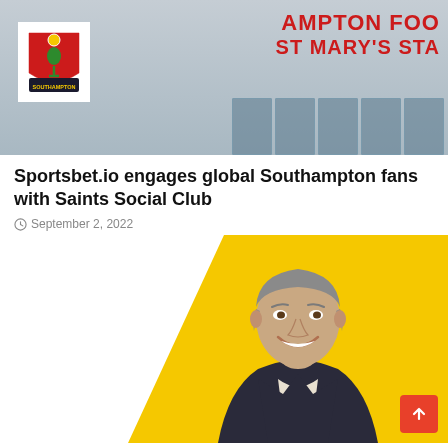[Figure (photo): Exterior of Southampton FC St Mary's Stadium showing the club badge on the wall and red lettering reading 'HAMPTON FOO' and 'ST MARY'S STA' (cropped), with reflective windows below]
Sportsbet.io engages global Southampton fans with Saints Social Club
September 2, 2022
[Figure (photo): Portrait of a middle-aged man with grey hair, smiling, wearing a dark suit over a white shirt, set against a bright yellow diagonal background. A red scroll-to-top button is visible in the bottom right corner.]